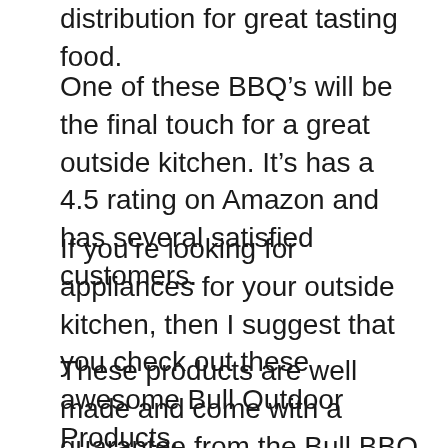distribution for great tasting food.
One of these BBQ’s will be the final touch for a great outside kitchen. It’s has a 4.5 rating on Amazon and has several satisfied customers.
If you’re looking for appliances for your outside kitchen, then I suggest that you check out these awesome Bull Outdoor Products.
These products are well made and come with a guarantee from the Bull BBQ company that they’re going to be products you love.
This company has an excellent reputation and